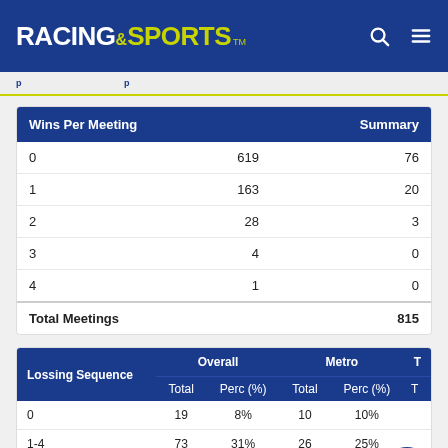RACING AND SPORTS
| Wins Per Meeting |  | Summary |
| --- | --- | --- |
| 0 | 619 | 76 |
| 1 | 163 | 20 |
| 2 | 28 | 3 |
| 3 | 4 | 0 |
| 4 | 1 | 0 |
| Total Meetings |  | 815 |
| Lossing Sequence | Overall Total | Overall Perc (%) | Metro Total | Metro Perc (%) | To |
| --- | --- | --- | --- | --- | --- |
| 0 | 19 | 8% | 10 | 10% |  |
| 1-4 | 73 | 31% | 26 | 25% |  |
| 5-10 | 61 | 26% | 34 | 33% |  |